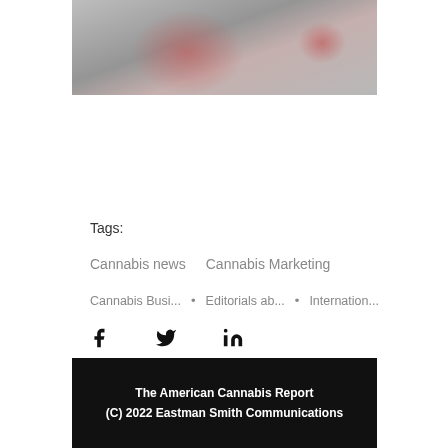[Figure (photo): Blurred photo showing red and grey tones, appears to be cannabis-related product packaging]
Tags:
Cannabis news   Cannabis Marketing
Cannabis Busi...  •  Editorials ab...  •  Internation...
[Figure (other): Social share icons: Facebook, Twitter, LinkedIn]
The American Cannabis Report
(C) 2022 Eastman Smith Communications